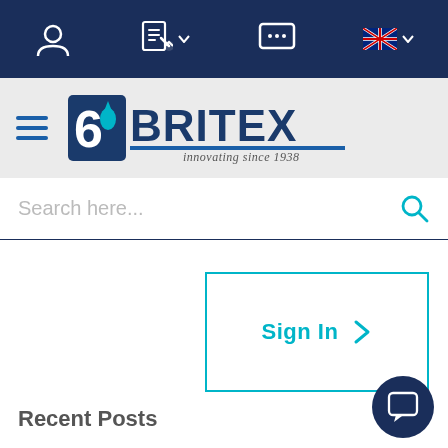[Figure (screenshot): Top navigation bar with dark navy background containing user icon, document/list icon with dropdown, chat/message icon, and Australian flag icon with dropdown arrow]
[Figure (logo): Britex logo with drop icon, company name BRITEX in bold dark blue/navy, tagline 'innovating since 1938' in italic, on light grey background with hamburger menu icon on left]
[Figure (screenshot): Search bar with placeholder text 'Search here...' and cyan search icon on the right, with dark blue bottom border]
[Figure (screenshot): Sign In button with cyan border, bold cyan 'Sign In' text and a right-pointing chevron arrow]
Recent Posts
[Figure (screenshot): Chat bubble button, dark navy circular button with white speech bubble icon, positioned bottom right]